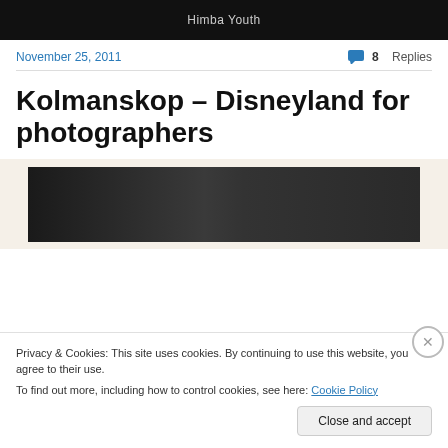[Figure (photo): Dark photograph strip with caption 'Himba Youth' in light text on black background]
November 25, 2011
8 Replies
Kolmanskop – Disneyland for photographers
[Figure (photo): Dark photograph, appears to be interior of a building, black and white tones]
Privacy & Cookies: This site uses cookies. By continuing to use this website, you agree to their use.
To find out more, including how to control cookies, see here: Cookie Policy
Close and accept